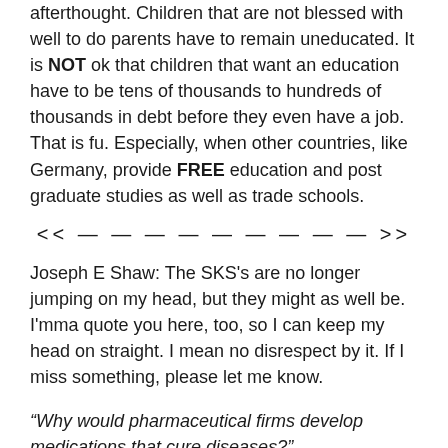afterthought. Children that are not blessed with well to do parents have to remain uneducated. It is NOT ok that children that want an education have to be tens of thousands to hundreds of thousands in debt before they even have a job. That is fu. Especially, when other countries, like Germany, provide FREE education and post graduate studies as well as trade schools.
<< — — — — — — — — — >>
Joseph E Shaw: The SKS's are no longer jumping on my head, but they might as well be. I'mma quote you here, too, so I can keep my head on straight. I mean no disrespect by it. If I miss something, please let me know.
“Why would pharmaceutical firms develop medications that cure diseases?”